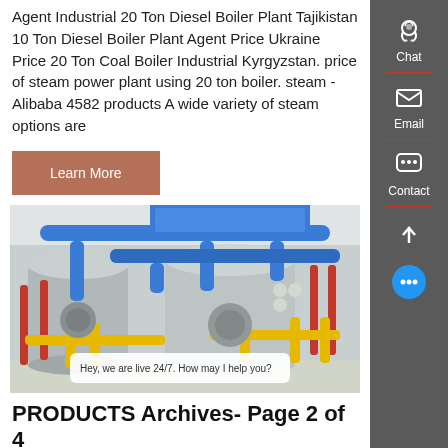Agent Industrial 20 Ton Diesel Boiler Plant Tajikistan 10 Ton Diesel Boiler Plant Agent Price Ukraine Price 20 Ton Coal Boiler Industrial Kyrgyzstan. price of steam power plant using 20 ton boiler. steam - Alibaba 4582 products A wide variety of steam options are
[Figure (other): Learn More button — brown/terracotta rectangular button with white text]
[Figure (photo): Industrial boiler plant interior showing large cylindrical boilers with blue, yellow, and red pipes in a white-walled facility]
Hey, we are live 24/7. How may I help you?
PRODUCTS Archives- Page 2 of 4